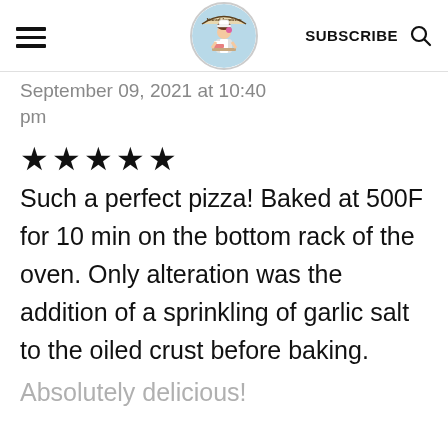Knead Academy — SUBSCRIBE
September 09, 2021 at 10:40 pm
★★★★★
Such a perfect pizza! Baked at 500F for 10 min on the bottom rack of the oven. Only alteration was the addition of a sprinkling of garlic salt to the oiled crust before baking.
Absolutely delicious!